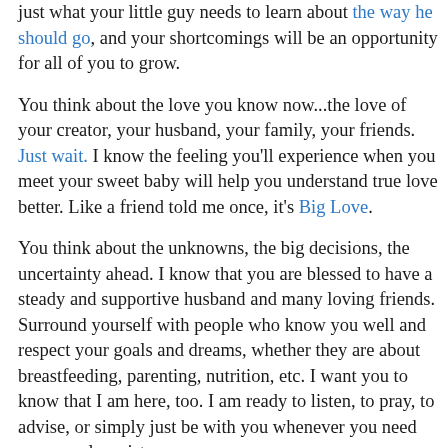just what your little guy needs to learn about the way he should go, and your shortcomings will be an opportunity for all of you to grow.
You think about the love you know now...the love of your creator, your husband, your family, your friends. Just wait. I know the feeling you'll experience when you meet your sweet baby will help you understand true love better. Like a friend told me once, it's Big Love.
You think about the unknowns, the big decisions, the uncertainty ahead. I know that you are blessed to have a steady and supportive husband and many loving friends. Surround yourself with people who know you well and respect your goals and dreams, whether they are about breastfeeding, parenting, nutrition, etc. I want you to know that I am here, too. I am ready to listen, to pray, to advise, or simply just be with you whenever you need me, as only a sister can.
Sister power 4 lyfe.
Love you...